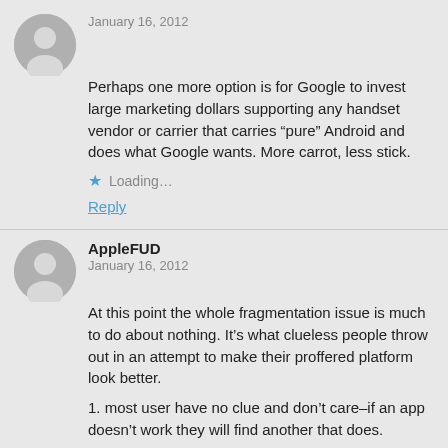January 16, 2012
Perhaps one more option is for Google to invest large marketing dollars supporting any handset vendor or carrier that carries “pure” Android and does what Google wants. More carrot, less stick.
Loading...
Reply
AppleFUD
January 16, 2012
At this point the whole fragmentation issue is much to do about nothing. It’s what clueless people throw out in an attempt to make their proffered platform look better.
1. most user have no clue and don’t care–if an app doesn’t work they will find another that does.
2. hardware competition has been accelerated due to Android thus anyone that has a clue wants the latest and greatest device, thus they’ll have the latest OS as well–only Android currently offers this level of competition on the hardware side–ios & wp7 will put us into a world of